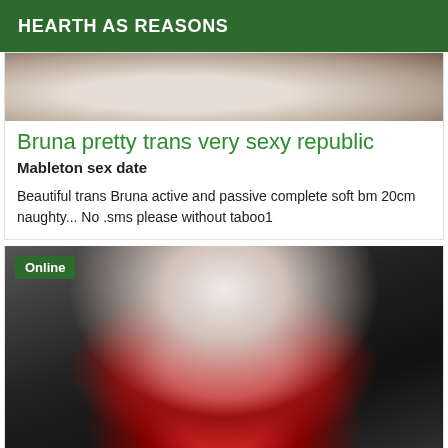HEARTH AS REASONS
[Figure (photo): Partial photo of a person, cropped at top]
Bruna pretty trans very sexy republic
Mableton sex date
Beautiful trans Bruna active and passive complete soft bm 20cm naughty... No .sms please without taboo1
[Figure (photo): Photo of a person wearing red lingerie and black jacket, with Online badge]